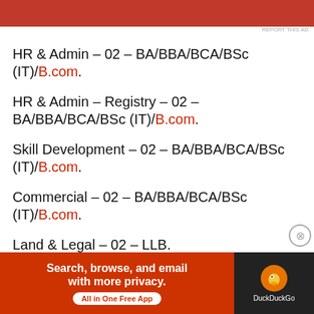[Figure (other): Red advertisement banner at top]
HR & Admin – 02 – BA/BBA/BCA/BSc (IT)/B.com.
HR & Admin – Registry – 02 – BA/BBA/BCA/BSc (IT)/B.com.
Skill Development – 02 – BA/BBA/BCA/BSc (IT)/B.com.
Commercial – 02 – BA/BBA/BCA/BSc (IT)/B.com.
Land & Legal – 02 – LLB.
Marketing & Promotions – 03 – BBA (Marketing)
Advertisements
[Figure (other): DuckDuckGo advertisement banner: Search, browse, and email with more privacy. All in One Free App]